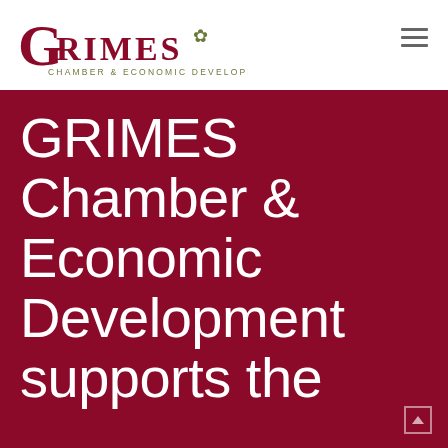[Figure (logo): Grimes Chamber & Economic Development logo with large serif G followed by RIMES in dark red, leaf flourish in olive green, and subtitle CHAMBER & ECONOMIC DEVELOPMENT in small spaced olive text]
GRIMES Chamber & Economic Development supports the